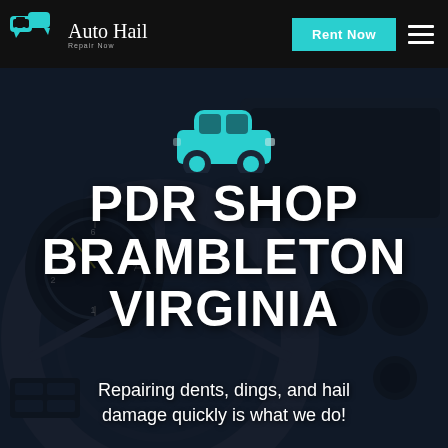Auto Hail Repair Now — Rent Now
[Figure (illustration): Teal car icon silhouette centered above the main heading]
PDR SHOP BRAMBLETON VIRGINIA
Repairing dents, dings, and hail damage quickly is what we do!